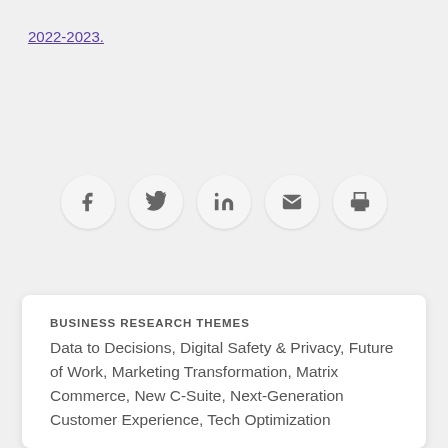2022-2023.
[Figure (infographic): Five social sharing icon circles: Facebook (f), Twitter (bird), LinkedIn (in), Email (envelope), Print (printer)]
BUSINESS RESEARCH THEMES
Data to Decisions, Digital Safety & Privacy, Future of Work, Marketing Transformation, Matrix Commerce, New C-Suite, Next-Generation Customer Experience, Tech Optimization
ROLES
Chief Analytics Officer, Chief Customer Officer,